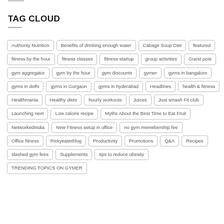TAG CLOUD
Authority Nutrition
Benefits of drinking enough water
Cabage Soup Diet
featured
fitness by the hour
fitness classes
fitness startup
group activities
Guest post
gym aggregator
gym by the hour
gym discounts
gymer
gyms in bangalore
gyms in delhi
gyms in Gurgaon
gyms in hyderabad
Headlines
health & fitness
Healthmania
Healthy diets
hourly workouts
Juices
Just smash Fit club
Launching next
Low calorie recipe
Myths About the Best Time to Eat Fruit
NetworkedIndia
New Fitness setup in office
no gym memebership fee
Office fitness
Pickyeaterblog
Productivity
Promotions
Q&A
Recipes
slashed gym fees
Supplements
tips to reduce obesity
TRENDING TOPICS ON GYMER